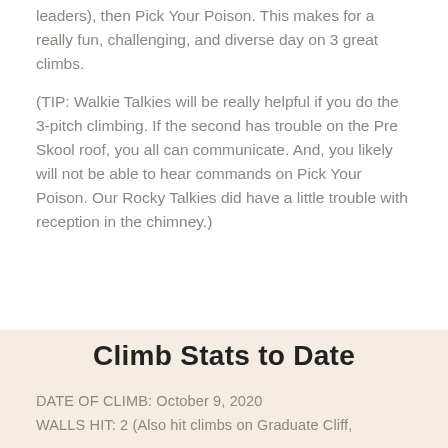leaders), then Pick Your Poison. This makes for a really fun, challenging, and diverse day on 3 great climbs.
(TIP: Walkie Talkies will be really helpful if you do the 3-pitch climbing. If the second has trouble on the Pre Skool roof, you all can communicate. And, you likely will not be able to hear commands on Pick Your Poison. Our Rocky Talkies did have a little trouble with reception in the chimney.)
Climb Stats to Date
DATE OF CLIMB: October 9, 2020
WALLS HIT: 2 (Also hit climbs on Graduate Cliff,